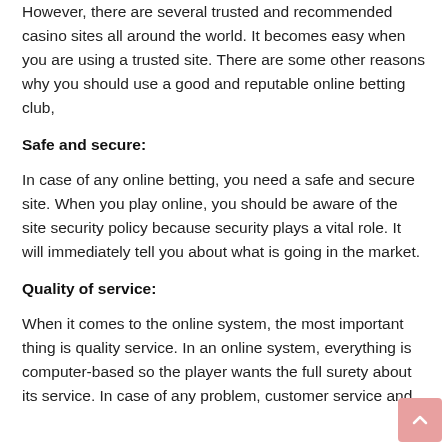However, there are several trusted and recommended casino sites all around the world. It becomes easy when you are using a trusted site. There are some other reasons why you should use a good and reputable online betting club,
Safe and secure:
In case of any online betting, you need a safe and secure site. When you play online, you should be aware of the site security policy because security plays a vital role. It will immediately tell you about what is going in the market.
Quality of service:
When it comes to the online system, the most important thing is quality service. In an online system, everything is computer-based so the player wants the full surety about its service. In case of any problem, customer service and